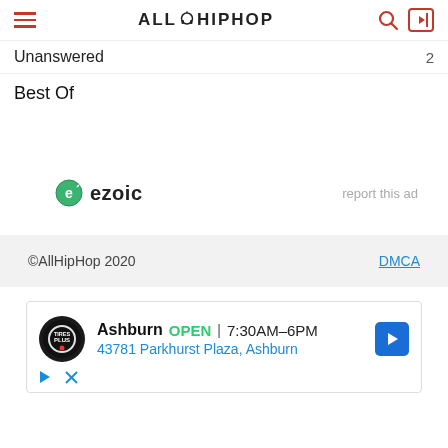AllHipHop (navigation bar with hamburger menu, logo, search and login icons)
Unanswered  2
Best Of
[Figure (logo): Ezoic logo with green circular badge icon and text 'ezoic']
report this ad
©AllHipHop 2020    DMCA
[Figure (infographic): Ad block: Tires Plus logo, Ashburn OPEN 7:30AM-6PM, 43781 Parkhurst Plaza, Ashburn, navigation arrow icon, play and close icons]